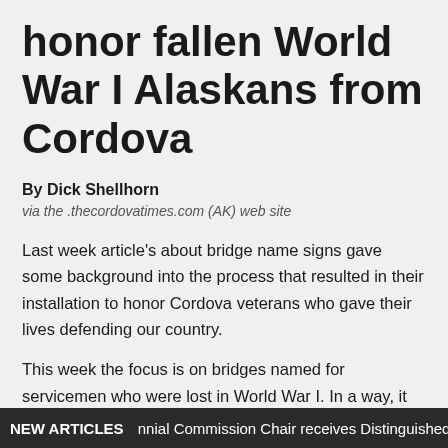honor fallen World War I Alaskans from Cordova
By Dick Shellhorn
via the .thecordovatimes.com (AK) web site
Last week article's about bridge name signs gave some background into the process that resulted in their installation to honor Cordova veterans who gave their lives defending our country.
This week the focus is on bridges named for servicemen who were lost in World War I. In a way, it seems logical to start in that order, although the bridges are named in the opposite order, with the bridges furthest from town being named for WWI honorees.
NEW ARTICLES   nnial Commission Chair receives Distinguished